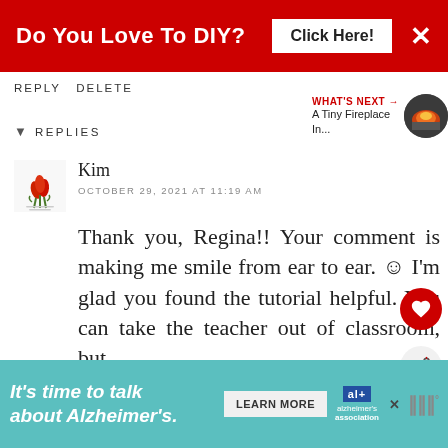[Figure (infographic): Red banner advertisement: 'Do You Love To DIY?' with 'Click Here!' button and close X]
REPLY DELETE
▼ REPLIES
[Figure (logo): Kim's avatar with red tulips illustration]
Kim
OCTOBER 29, 2021 AT 11:19 AM
Thank you, Regina!! Your comment is making me smile from ear to ear. ☺ I'm glad you found the tutorial helpful. You can take the teacher out of classroom, but...
[Figure (infographic): Bottom advertisement banner: It's time to talk about Alzheimer's. with Learn More button and Alzheimer's Association logo]